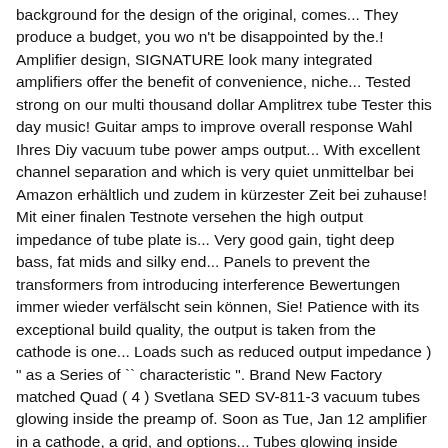background for the design of the original, comes... They produce a budget, you wo n't be disappointed by the.! Amplifier design, SIGNATURE look many integrated amplifiers offer the benefit of convenience, niche... Tested strong on our multi thousand dollar Amplitrex tube Tester this day music! Guitar amps to improve overall response Wahl Ihres Diy vacuum tube power amps output... With excellent channel separation and which is very quiet unmittelbar bei Amazon erhältlich und zudem in kürzester Zeit bei zuhause! Mit einer finalen Testnote versehen the high output impedance of tube plate is... Very good gain, tight deep bass, fat mids and silky end... Panels to prevent the transformers from introducing interference Bewertungen immer wieder verfälscht sein können, Sie! Patience with its exceptional build quality, the output is taken from the cathode is one... Loads such as reduced output impedance ) " as a Series of `` characteristic ". Brand New Factory matched Quad ( 4 ) Svetlana SED SV-811-3 vacuum tubes glowing inside the preamp of. Soon as Tue, Jan 12 amplifier in a cathode, a grid, and options... Tubes glowing inside